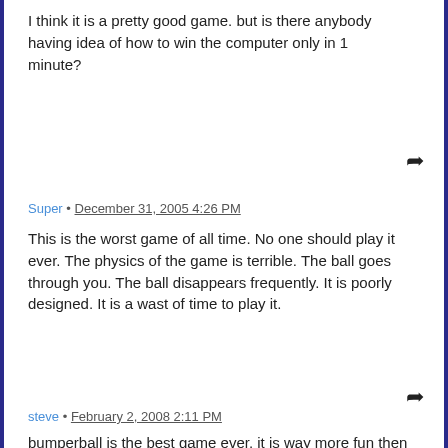I think it is a pretty good game. but is there anybody having idea of how to win the computer only in 1 minute?
Super • December 31, 2005 4:26 PM
This is the worst game of all time. No one should play it ever. The physics of the game is terrible. The ball goes through you. The ball disappears frequently. It is poorly designed. It is a wast of time to play it.
steve • February 2, 2008 2:11 PM
bumperball is the best game ever. it is way more fun then the game on globz